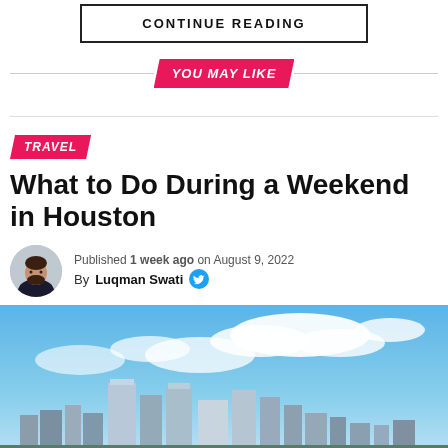CONTINUE READING
YOU MAY LIKE
TRAVEL
What to Do During a Weekend in Houston
Published 1 week ago on August 9, 2022
By Luqman Swati
[Figure (photo): Houston cityscape with blue sky and clouds]